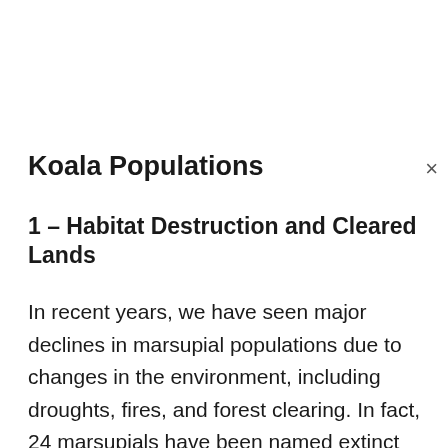Koala Populations
1 – Habitat Destruction and Cleared Lands
In recent years, we have seen major declines in marsupial populations due to changes in the environment, including droughts, fires, and forest clearing. In fact, 24 marsupials have been named extinct and 25% of their land is now cleared. Koalas, in particular, are struggling to